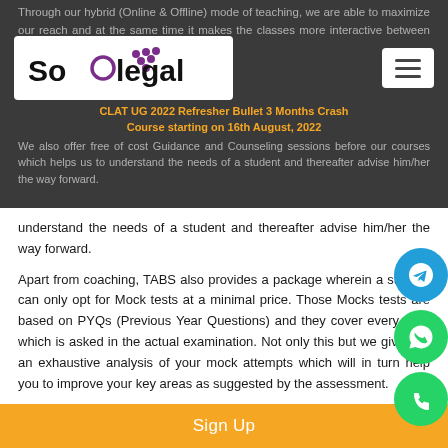Through our hybrid (Online & Offline) mode of teaching, we are able to maximize our reach and at the same time it makes the classes more interactive between our offline and online students.
[Figure (logo): SoOlegal logo with purple circle and grape icon]
[Figure (other): Hamburger menu icon]
CLAT UG 2022 Refresher Bullet 3 Months Crash Course starting on 16th August, 2022
We also offer free of cost Guidance and Counseling sessions before our courses which helps us to understand the needs of a student and thereafter advise him/her the way forward.
Apart from coaching, TABS also provides a package wherein a student can only opt for Mock tests at a minimal price. Those Mocks tests are based on PYQs (Previous Year Questions) and they cover every area which is asked in the actual examination. Not only this but we give you an exhaustive analysis of your mock attempts which will in turn help you to improve your key areas as suggested by the assessment.
Sign Up